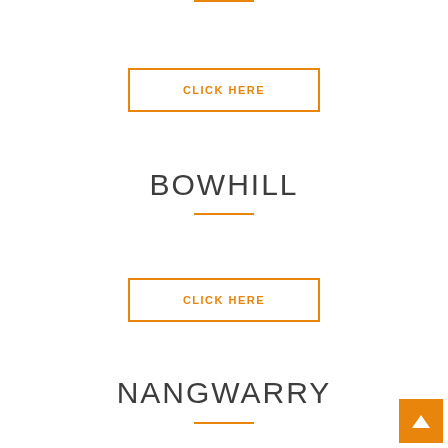[Figure (other): Orange horizontal rule at the top of the page (partially cropped)]
CLICK HERE
BOWHILL
CLICK HERE
NANGWARRY